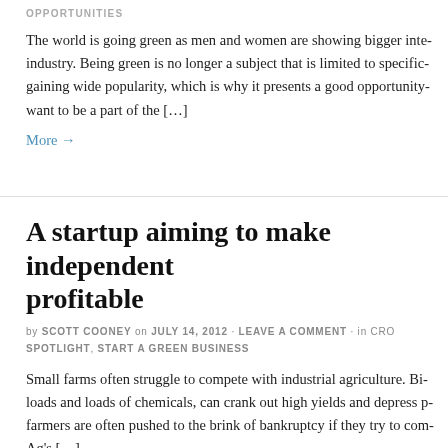OPPORTUNITIES
The world is going green as men and women are showing bigger inte... industry. Being green is no longer a subject that is limited to specific... gaining wide popularity, which is why it presents a good opportunity... want to be a part of the […]
More →
A startup aiming to make independent... profitable
by SCOTT COONEY on JULY 14, 2012 · LEAVE A COMMENT · in CRO... SPOTLIGHT, START A GREEN BUSINESS
Small farms often struggle to compete with industrial agriculture. Bi... loads and loads of chemicals, can crank out high yields and depress p... farmers are often pushed to the brink of bankruptcy if they try to com... Ag's […]